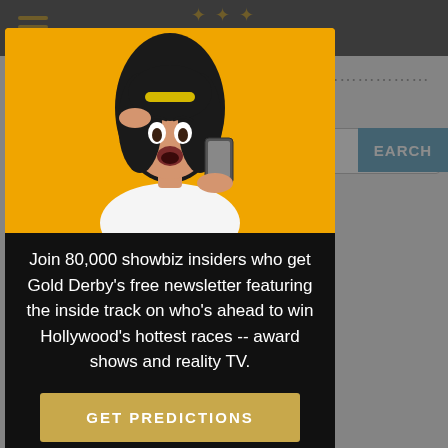[Figure (screenshot): Background website page showing a leaderboard with username and Pts Won columns. Rows include rank 76 mom... (13310), rank 77 jakeb... (13295), rank 78 johannesmehl 17/20 85.00% 13244. A search bar with SEARCH button and 'Full Le...' section header are also visible.]
[Figure (photo): Modal popup with a photo of a surprised young woman with dark hair holding a smartphone against an orange/yellow background.]
Join 80,000 showbiz insiders who get Gold Derby's free newsletter featuring the inside track on who's ahead to win Hollywood's hottest races -- award shows and reality TV.
GET PREDICTIONS
No thanks